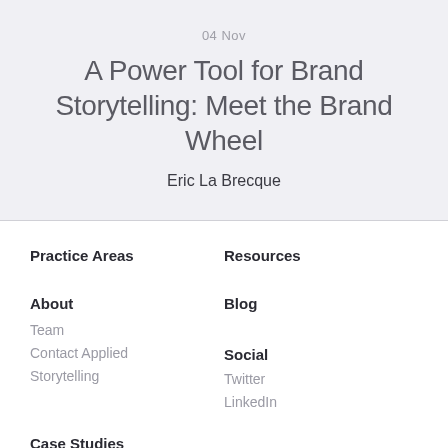04 Nov
A Power Tool for Brand Storytelling: Meet the Brand Wheel
Eric La Brecque
Practice Areas
Resources
About
Blog
Team
Contact Applied
Storytelling
Social
Twitter
LinkedIn
Case Studies